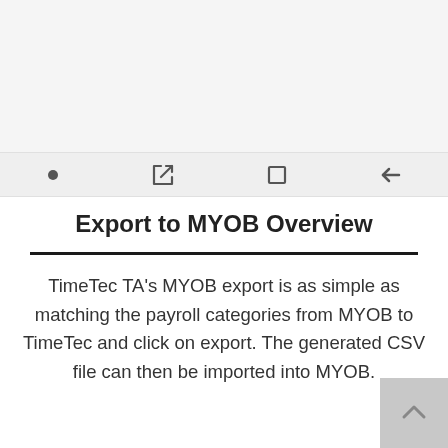[Figure (screenshot): Mobile device navigation bar with icons: circle dot, redirect arrow, square/window, and back arrow on a light grey background]
Export to MYOB Overview
TimeTec TA's MYOB export is as simple as matching the payroll categories from MYOB to TimeTec and click on export. The generated CSV file can then be imported into MYOB.